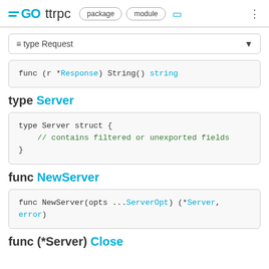GO ttrpc  package  module
≡ type Request
func (r *Response) String() string
type Server
type Server struct {
    // contains filtered or unexported fields
}
func NewServer
func NewServer(opts ...ServerOpt) (*Server,
error)
func (*Server) Close